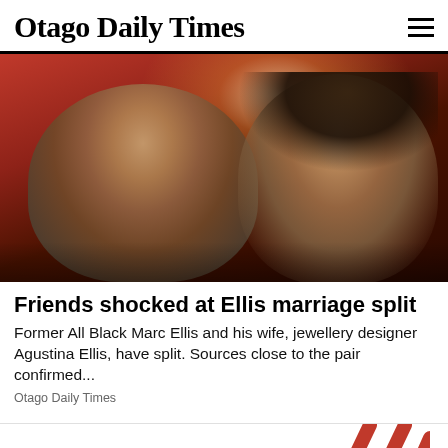Otago Daily Times
[Figure (photo): A man and woman smiling together at what appears to be an event, with red ambient lighting in the background. The man has grey hair and is wearing a blue shirt; the woman has long dark hair and is wearing a sparkly/patterned top.]
Friends shocked at Ellis marriage split
Former All Black Marc Ellis and his wife, jewellery designer Agustina Ellis, have split. Sources close to the pair confirmed...
Otago Daily Times
[Figure (other): Partial red chevron/slash decorative marks at the bottom right of the page]